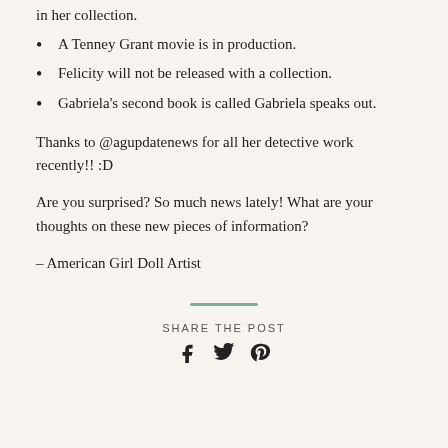in her collection.
A Tenney Grant movie is in production.
Felicity will not be released with a collection.
Gabriela's second book is called Gabriela speaks out.
Thanks to @agupdatenews for all her detective work recently!! :D
Are you surprised? So much news lately! What are your thoughts on these new pieces of information?
– American Girl Doll Artist
SHARE THE POST